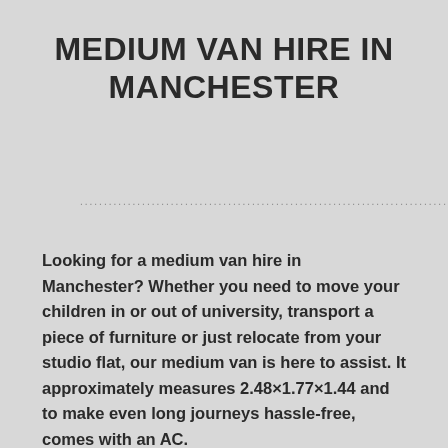MEDIUM VAN HIRE IN MANCHESTER
Looking for a medium van hire in Manchester? Whether you need to move your children in or out of university, transport a piece of furniture or just relocate from your studio flat, our medium van is here to assist. It approximately measures 2.48×1.77×1.44 and to make even long journeys hassle-free, comes with an AC.